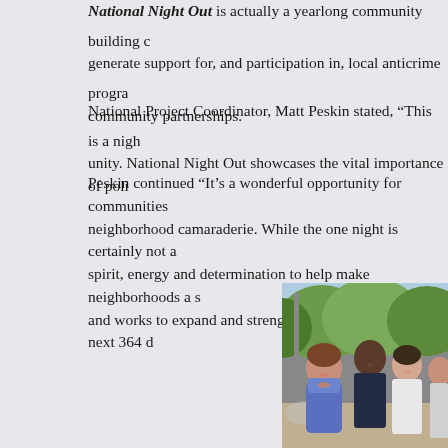National Night Out is actually a yearlong community building campaign to generate support for, and participation in, local anticrime programs and community partnerships.
National Project Coordinator, Matt Peskin stated, “This is a night of unity. National Night Out showcases the vital importance of poli…
Peskin continued “It’s a wonderful opportunity for communities… neighborhood camaraderie. While the one night is certainly not a… spirit, energy and determination to help make neighborhoods a s… and works to expand and strengthen programs for the next 364 d…
[Figure (photo): Group photo of community members smiling outdoors with trees in background. Shows a woman in blue jacket, a young Black man in dark shirt, a woman with straight dark hair in white shirt, and partially visible fourth person on right.]